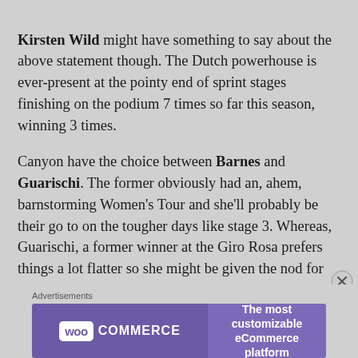Kirsten Wild might have something to say about the above statement though. The Dutch powerhouse is ever-present at the pointy end of sprint stages finishing on the podium 7 times so far this season, winning 3 times.
Canyon have the choice between Barnes and Guarischi. The former obviously had an, ahem, barnstorming Women's Tour and she'll probably be their go to on the tougher days like stage 3. Whereas, Guarischi, a former winner at the Giro Rosa prefers things a lot flatter so she might be given the nod for stage 4. Either way, the team will be disappointed not to make the podium.
Advertisements
[Figure (other): WooCommerce advertisement banner with purple background. Left side shows WooCommerce logo (white bubble with purple text 'WOO' and white 'COMMERCE'). Right side shows text: 'The most customizable eCommerce platform']